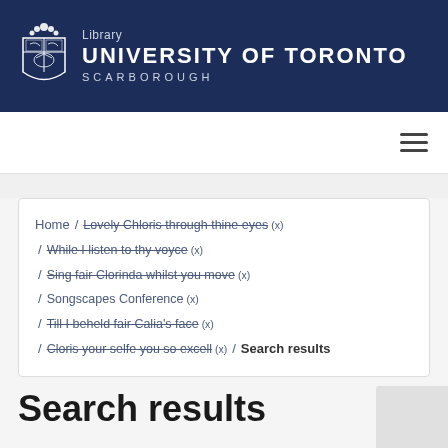[Figure (logo): University of Toronto Scarborough Library logo on dark navy blue header bar with shield crest]
[Figure (other): Hamburger menu icon (three horizontal lines)]
Home / Lovely Chloris through thine eyes (x) / While I listen to thy voyce (x) / Sing fair Clorinda whilst you move (x) / Songscapes Conference (x) / Till I beheld fair Calia's face (x) / Cloris your selfe you so excell (x) / Search results
Search results